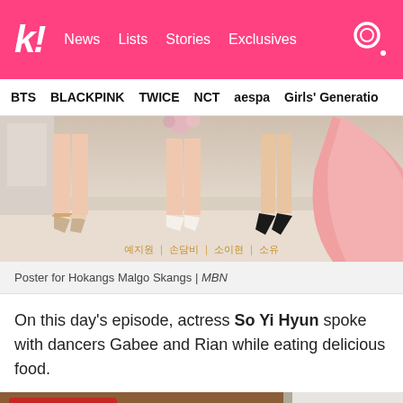k! News Lists Stories Exclusives
BTS BLACKPINK TWICE NCT aespa Girls' Generation
[Figure (photo): Poster for Hokangs Malgo Skangs showing women's legs in high heels with Korean text names at bottom: 예지원 | 손담비 | 소이현 | 소유]
Poster for Hokangs Malgo Skangs | MBN
On this day's episode, actress So Yi Hyun spoke with dancers Gabee and Rian while eating delicious food.
[Figure (screenshot): Partial screenshot of a TV show with Korean text overlay on a wooden table background]